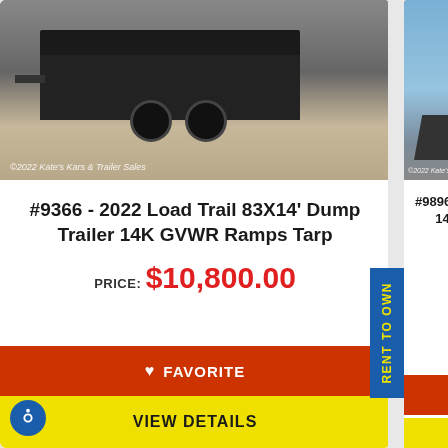[Figure (photo): Black dump trailer with dual axles photographed outdoors on gravel/sand. Watermark reads ©2022 Kate's Kars & Trailer Sales]
#9366 - 2022 Load Trail 83X14' Dump Trailer 14K GVWR Ramps Tarp
PRICE: $10,800.00
[Figure (photo): Partial view of trailer product listing card on right side. Watermark reads ©2022 Kate's with RENT TO OWN badge in blue with yellow text.]